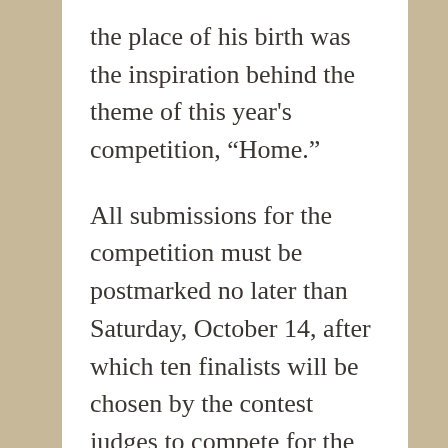the place of his birth was the inspiration behind the theme of this year's competition, “Home.”
All submissions for the competition must be postmarked no later than Saturday, October 14, after which ten finalists will be chosen by the contest judges to compete for the prize money. On Monday, October 30, the Wheeler Memorial Library will host a reading of the chosenpoems and award prizes of